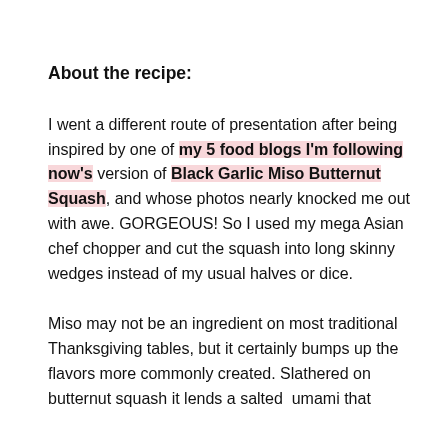About the recipe:
I went a different route of presentation after being inspired by one of my 5 food blogs I'm following now's version of Black Garlic Miso Butternut Squash, and whose photos nearly knocked me out with awe. GORGEOUS! So I used my mega Asian chef chopper and cut the squash into long skinny wedges instead of my usual halves or dice.
Miso may not be an ingredient on most traditional Thanksgiving tables, but it certainly bumps up the flavors more commonly created. Slathered on butternut squash it lends a salted umami that